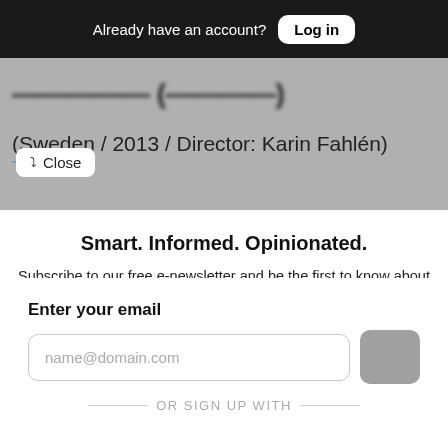Already have an account? Log in
(Sweden / 2013 / Director: Karin Fahlén) Trailer
Close
Smart. Informed. Opinionated.
Subscribe to our free e-newsletter and be the first to know about Milwaukee's latest local news, restaurants, music, events, arts & entertainment and exclusive giveaways.
Enter your email
name@domain.com
OR SIGN UP WITH